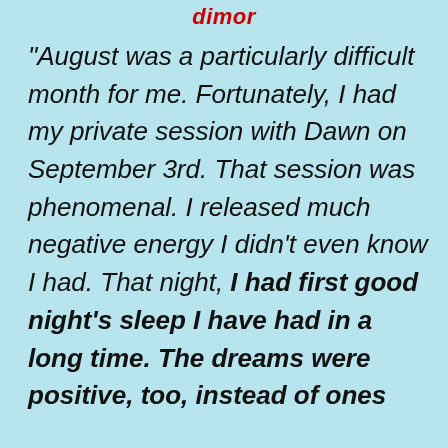dimor
"August was a particularly difficult month for me. Fortunately, I had my private session with Dawn on September 3rd. That session was phenomenal. I released much negative energy I didn't even know I had. That night, I had first good night's sleep I have had in a long time. The dreams were positive, too, instead of ones